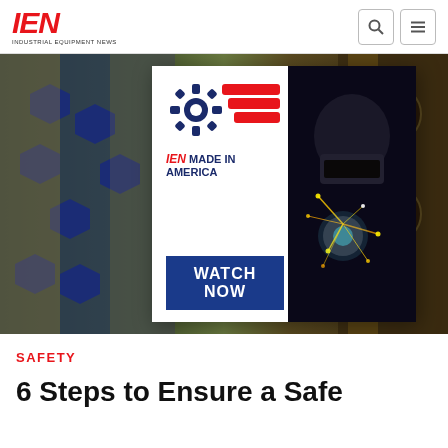IEN - Industrial Equipment News
[Figure (illustration): IEN Made in America promotional banner with gear icon, American flag stripes, welder with sparks, and 'WATCH NOW' call-to-action button. Background shows industrial manufacturing parts (nuts, bolts, motors).]
SAFETY
6 Steps to Ensure a Safe Working Environment